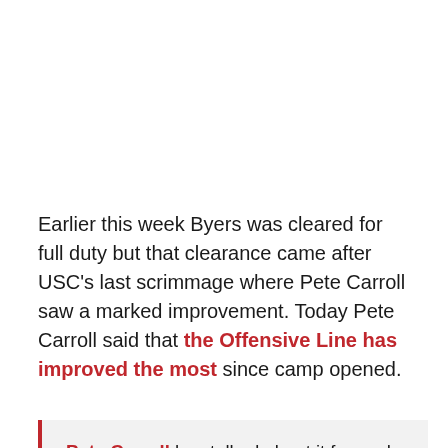Earlier this week Byers was cleared for full duty but that clearance came after USC's last scrimmage where Pete Carroll saw a marked improvement. Today Pete Carroll said that the Offensive Line has improved the most since camp opened.
Pete Carroll has talked about it for each of the past three days. He said his offensive line has turned a corner.

And at times, you'd just have to take his word for it.

But during Wednesday morning's practice at Howard